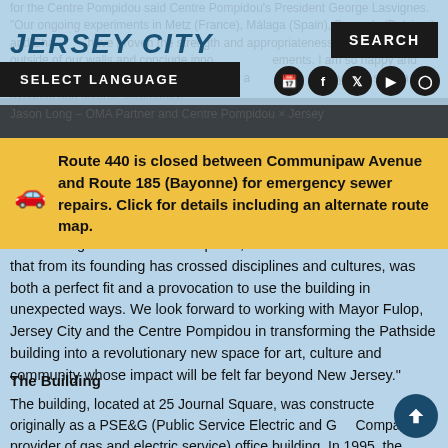JERSEY CITY
for the Centre Pompidou said Centre Pompidou's President George Lasvignes. "Our ongoing experiments in Metz (France), Málaga (Spain), Brussels (Belgium) and Shanghai (China) have proven the strength and appropriateness of our way to go outside of our walls and conclude innovative agreements. I am so happy and grateful that the Centre Pompidou will open a USA from Jersey City, such a very dynamic and diverse community."
Jason Long – OMA Partner and Centre Pompidou × Jersey
Route 440 is closed between Communipaw Avenue and Route 185 (Bayonne) for emergency sewer repairs. Click for details including an alternate route map.
Jason Long: "The Centre Pompidou, a multidimensional institution that from its founding has crossed disciplines and cultures, was both a perfect fit and a provocation to use the building in unexpected ways. We look forward to working with Mayor Fulop, Jersey City and the Centre Pompidou in transforming the Pathside building into a revolutionary new space for art, culture and community whose impact will be felt far beyond New Jersey."
The Building
The building, located at 25 Journal Square, was constructed in 1912 originally as a PSE&G (Public Service Electric and Gas Company, provider of gas and electric service) office building. In 1995, the building underwent a major renovation to create